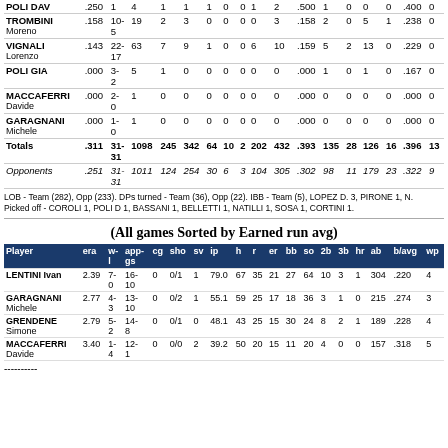| Player | avg | w-l | ab | r | h | 2b | 3b | hr | rbi | tb | slg | bb | hbp | so | gdp | obp | sf |
| --- | --- | --- | --- | --- | --- | --- | --- | --- | --- | --- | --- | --- | --- | --- | --- | --- | --- |
| POLI DAV | .250 |  | 4 | 1 | 1 | 1 | 0 | 0 | 1 | 2 | .500 | 1 | 0 | 0 | 0 | .400 | 0 |
| TROMBINI Moreno | .158 | 10-5 | 19 | 2 | 3 | 0 | 0 | 0 | 0 | 3 | .158 | 2 | 0 | 5 | 1 | .238 | 0 |
| VIGNALI Lorenzo | .143 | 22-17 | 63 | 7 | 9 | 1 | 0 | 0 | 6 | 10 | .159 | 5 | 2 | 13 | 0 | .229 | 0 |
| POLI GIA | .000 | 3-2 | 5 | 1 | 0 | 0 | 0 | 0 | 0 | 0 | .000 | 1 | 0 | 1 | 0 | .167 | 0 |
| MACCAFERRI Davide | .000 | 2-0 | 1 | 0 | 0 | 0 | 0 | 0 | 0 | 0 | .000 | 0 | 0 | 0 | 0 | .000 | 0 |
| GARAGNANI Michele | .000 | 1-0 | 1 | 0 | 0 | 0 | 0 | 0 | 0 | 0 | .000 | 0 | 0 | 0 | 0 | .000 | 0 |
| Totals | .311 | 31-31 | 1098 | 245 | 342 | 64 | 10 | 2 | 202 | 432 | .393 | 135 | 28 | 126 | 16 | .396 | 13 |
| Opponents | .251 | 31-31 | 1011 | 124 | 254 | 30 | 6 | 3 | 104 | 305 | .302 | 98 | 11 | 179 | 23 | .322 | 9 |
LOB - Team (282), Opp (233). DPs turned - Team (36), Opp (22). IBB - Team (5), LOPEZ D. 3, PIRONE 1, N. Picked off - COROLI 1, POLI D 1, BASSANI 1, BELLETTI 1, NATILLI 1, SOSA 1, CORTINI 1.
(All games Sorted by Earned run avg)
| Player | era | w-l | app-gs | cg | sho | sv | ip | h | r | er | bb | so | 2b | 3b | hr | ab | b/avg | wp |
| --- | --- | --- | --- | --- | --- | --- | --- | --- | --- | --- | --- | --- | --- | --- | --- | --- | --- | --- |
| LENTINI Ivan | 2.39 | 7-0 | 16-10 | 0 | 0/1 | 1 | 79.0 | 67 | 35 | 21 | 27 | 64 | 10 | 3 | 1 | 304 | .220 | 4 |
| GARAGNANI Michele | 2.77 | 4-3 | 13-10 | 0 | 0/2 | 1 | 55.1 | 59 | 25 | 17 | 18 | 36 | 3 | 1 | 0 | 215 | .274 | 3 |
| GRENDENE Simone | 2.79 | 5-2 | 14-8 | 0 | 0/1 | 0 | 48.1 | 43 | 25 | 15 | 30 | 24 | 8 | 2 | 1 | 189 | .228 | 4 |
| MACCAFERRI Davide | 3.40 | 1-4 | 12-1 | 0 | 0/0 | 2 | 39.2 | 50 | 20 | 15 | 11 | 20 | 4 | 0 | 0 | 157 | .318 | 5 |
----------